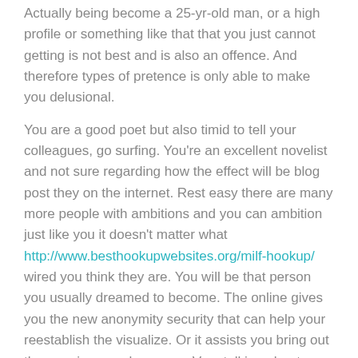Actually being become a 25-yr-old man, or a high profile or something like that that you just cannot getting is not best and is also an offence. And therefore types of pretence is only able to make you delusional.
You are a good poet but also timid to tell your colleagues, go surfing. You're an excellent novelist and not sure regarding how the effect will be blog post they on the internet. Rest easy there are many more people with ambitions and you can ambition just like you it doesn't matter what http://www.besthookupwebsites.org/milf-hookup/ wired you think they are. You will be that person you usually dreamed to become. The online gives you the new anonymity security that can help your reestablish the visualize. Or it assists you bring out the genuine people you are.Very talking about a number of the great things about online chatting with visitors, add your very own on the record and you will comment to tell if you consent or not. And you may pursue all of us for much more.